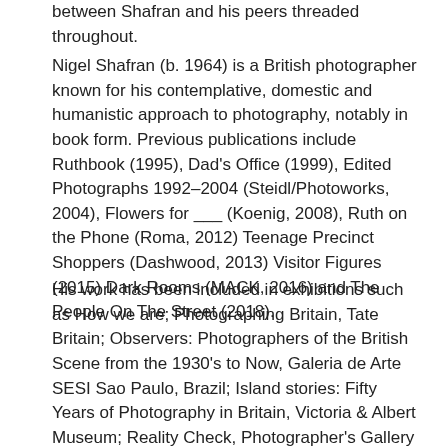between Shafran and his peers threaded throughout.
Nigel Shafran (b. 1964) is a British photographer known for his contemplative, domestic and humanistic approach to photography, notably in book form. Previous publications include Ruthbook (1995), Dad's Office (1999), Edited Photographs 1992–2004 (Steidl/Photoworks, 2004), Flowers for ___ (Koenig, 2008), Ruth on the Phone (Roma, 2012) Teenage Precinct Shoppers (Dashwood, 2013) Visitor Figures (2015) Dark Rooms (MACK, 2016) and The People On The Street (2018).
His work has been included in exhibitions such as How we are; Photographing Britain, Tate Britain; Observers: Photographers of the British Scene from the 1930's to Now, Galeria de Arte SESI Sao Paulo, Brazil; Island stories: Fifty Years of Photography in Britain, Victoria & Albert Museum; Reality Check, Photographer's Gallery / British Council; Theatres of the Real, FotoMuseum, Antwerp. His work is held in several public collections, including Museum for Moderne Kunst Frankfurt, Arts Council, the National Portrait Gallery and the Victoria & Albert Museum.